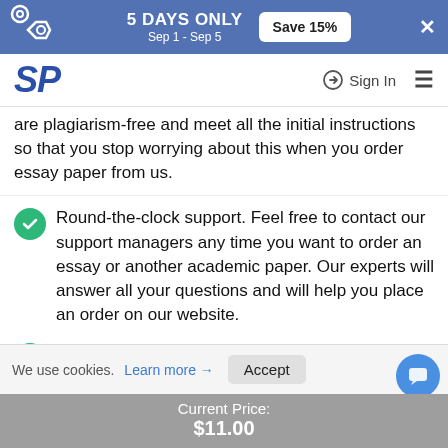5 DAYS ONLY Sep 1 - Sep 5 Save 15%
[Figure (logo): SP logo in blue italic bold font]
are plagiarism-free and meet all the initial instructions so that you stop worrying about this when you order essay paper from us.
Round-the-clock support. Feel free to contact our support managers any time you want to order an essay or another academic paper. Our experts will answer all your questions and will help you place an order on our website.
Pocket-friendly prices. We know that students are usually on a tight budget, and that is the reason why we offer loyal prices. You won't
We use cookies. Learn more → Accept
Current Price: $11.00